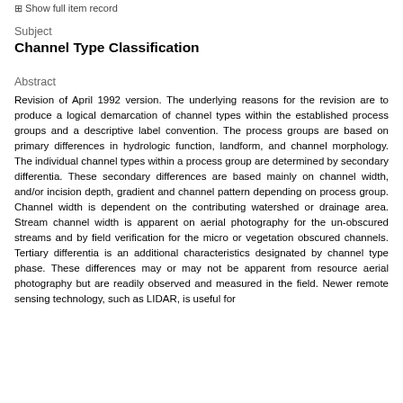Show full item record
Subject
Channel Type Classification
Abstract
Revision of April 1992 version. The underlying reasons for the revision are to produce a logical demarcation of channel types within the established process groups and a descriptive label convention. The process groups are based on primary differences in hydrologic function, landform, and channel morphology. The individual channel types within a process group are determined by secondary differentia. These secondary differences are based mainly on channel width, and/or incision depth, gradient and channel pattern depending on process group. Channel width is dependent on the contributing watershed or drainage area. Stream channel width is apparent on aerial photography for the un-obscured streams and by field verification for the micro or vegetation obscured channels. Tertiary differentia is an additional characteristics designated by channel type phase. These differences may or may not be apparent from resource aerial photography but are readily observed and measured in the field. Newer remote sensing technology, such as LIDAR, is useful for